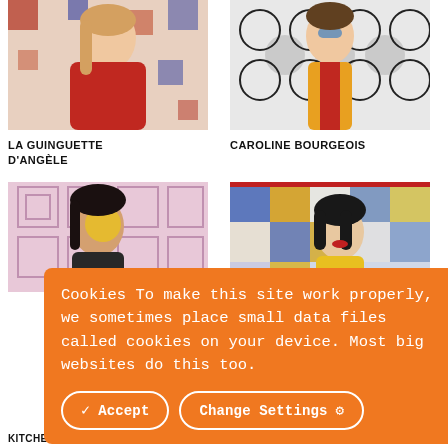[Figure (photo): Woman in red t-shirt standing in front of colorful geometric patterned background]
[Figure (photo): Woman in yellow blazer and red top with blue face paint, standing in front of black and white geometric pattern]
LA GUINGUETTE D'ANGÈLE
CAROLINE BOURGEOIS
[Figure (photo): Woman with yellow face paint against pink patterned background]
[Figure (photo): Woman in yellow sweater with short dark hair against colorful geometric background]
Cookies To make this site work properly, we sometimes place small data files called cookies on your device. Most big websites do this too.
KITCHEN
VELASQUEZ